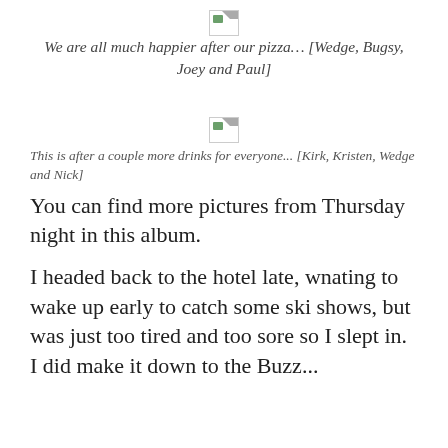[Figure (photo): Broken/missing image placeholder icon]
We are all much happier after our pizza… [Wedge, Bugsy, Joey and Paul]
[Figure (photo): Broken/missing image placeholder icon]
This is after a couple more drinks for everyone... [Kirk, Kristen, Wedge and Nick]
You can find more pictures from Thursday night in this album.
I headed back to the hotel late, wnating to wake up early to catch some ski shows, but was just too tired and too sore so I slept in. I did make it down to the Buzz...